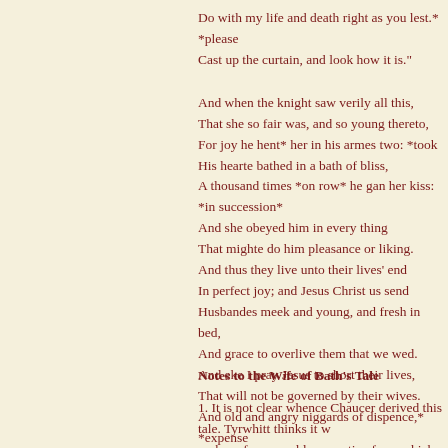Do with my life and death right as you lest.* *please
Cast up the curtain, and look how it is."

And when the knight saw verily all this,
That she so fair was, and so young thereto,
For joy he hent* her in his armes two: *took
His hearte bathed in a bath of bliss,
A thousand times *on row* he gan her kiss: *in succession*
And she obeyed him in every thing
That mighte do him pleasance or liking.
And thus they live unto their lives' end
In perfect joy; and Jesus Christ us send
Husbandes meek and young, and fresh in bed,
And grace to overlive them that we wed.
And eke I pray Jesus to short their lives,
That will not be governed by their wives.
And old and angry niggards of dispence,* *expense
God send them soon a very pestilence!
Notes to the Wife of Bath's Tale
1. It is not clear whence Chaucer derived this tale. Tyrwhitt thinks it w perhaps from an older narrative from which Gower himself borrowed.